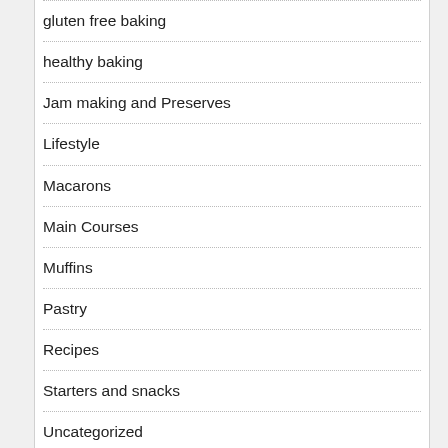gluten free baking
healthy baking
Jam making and Preserves
Lifestyle
Macarons
Main Courses
Muffins
Pastry
Recipes
Starters and snacks
Uncategorized
Using Alternatives
Vegan baking